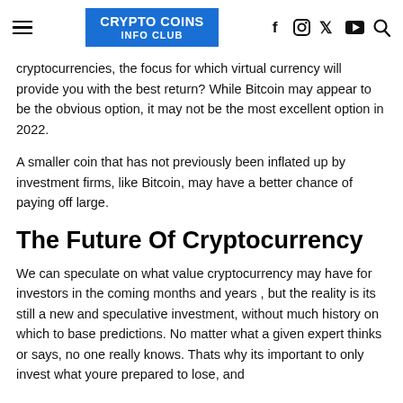CRYPTO COINS INFO CLUB
cryptocurrencies, the focus for which virtual currency will provide you with the best return? While Bitcoin may appear to be the obvious option, it may not be the most excellent option in 2022.
A smaller coin that has not previously been inflated up by investment firms, like Bitcoin, may have a better chance of paying off large.
The Future Of Cryptocurrency
We can speculate on what value cryptocurrency may have for investors in the coming months and years , but the reality is its still a new and speculative investment, without much history on which to base predictions. No matter what a given expert thinks or says, no one really knows. Thats why its important to only invest what youre prepared to lose, and